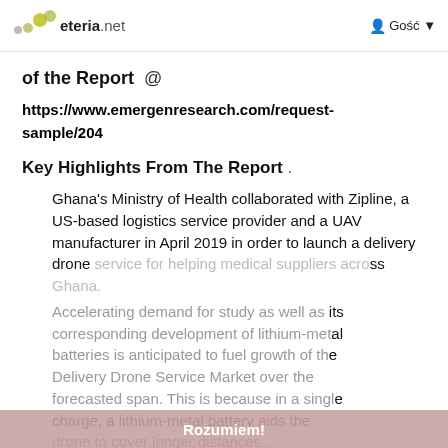eteria.net  Gość
of the Report  @
https://www.emergenresearch.com/request-sample/204
Key Highlights From The Report .
Ghana's Ministry of Health collaborated with Zipline, a US-based logistics service provider and a UAV manufacturer in April 2019 in order to launch a delivery drone service for helping medical suppliers across Ghana.
Accelerating demand for study as well as its corresponding development of lithium-metal batteries is anticipated to fuel growth of the Delivery Drone Service Market over the forecasted span. This is because in a single charge, a lithium-metal battery aids the drone to cover longer distances.
Rozumiem!